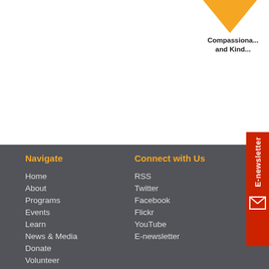[Figure (logo): Orange downward-pointing triangle logo with text 'Compassiona... and Kind...' below it, top right corner]
[Figure (other): Red vertical E-newsletter tab with envelope icon on the right side]
Navigate
Home
About
Programs
Events
Learn
News & Media
Donate
Volunteer
Connect with Us
RSS
Twitter
Facebook
Flickr
YouTube
E-newsletter